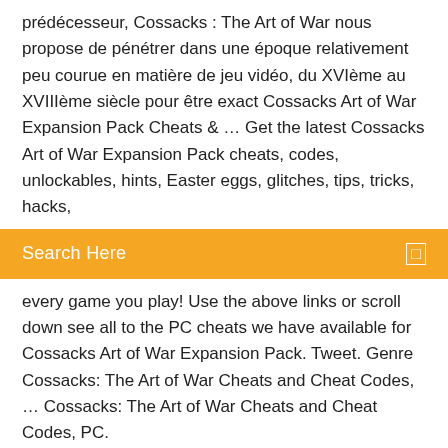prédécesseur, Cossacks : The Art of War nous propose de pénétrer dans une époque relativement peu courue en matière de jeu vidéo, du XVIème au XVIIIème siècle pour être exact Cossacks Art of War Expansion Pack Cheats & … Get the latest Cossacks Art of War Expansion Pack cheats, codes, unlockables, hints, Easter eggs, glitches, tips, tricks, hacks,
Search Here
every game you play! Use the above links or scroll down see all to the PC cheats we have available for Cossacks Art of War Expansion Pack. Tweet. Genre Cossacks: The Art of War Cheats and Cheat Codes, … Cossacks: The Art of War Cheats and Cheat Codes, PC.
Naruto shippuden ultimate ninja storm 3 personnage caché
Open office windows 7 32 bit
Fusionner plusieurs documents pdf en un seul
Directx 12 gratuit télécharger for windows 7 32 bit full